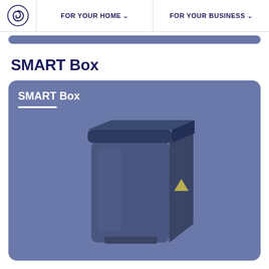FOR YOUR HOME  |  FOR YOUR BUSINESS
SMART Box
[Figure (photo): SMART Box product card with blue/slate background showing a 3D rendered image of a dark navy blue box-shaped device with a small yellow triangle logo on the front right side. The card has the title 'SMART Box' in white bold text with a white underline decoration above the device image.]